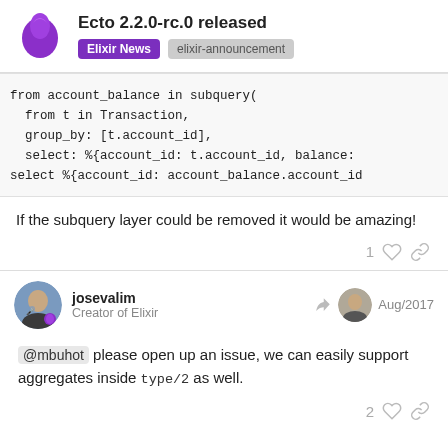Ecto 2.2.0-rc.0 released | Elixir News | elixir-announcement
[Figure (other): Code block showing Ecto subquery usage: from account_balance in subquery( from t in Transaction, group_by: [t.account_id], select: %{account_id: t.account_id, balance: ... select %{account_id: account_balance.account_id...]
If the subquery layer could be removed it would be amazing!
josevalim
Creator of Elixir
Aug/2017
@mbuhot please open up an issue, we can easily support aggregates inside type/2 as well.